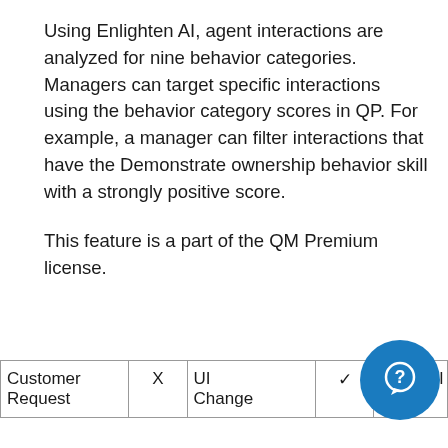Using Enlighten AI, agent interactions are analyzed for nine behavior categories. Managers can target specific interactions using the behavior category scores in QP. For example, a manager can filter interactions that have the Demonstrate ownership behavior skill with a strongly positive score.

This feature is a part of the QM Premium license.
| Customer Request | X | UI Change | ✓ | Availabil |